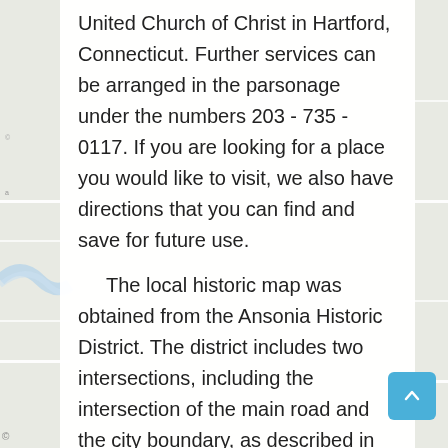United Church of Christ in Hartford, Connecticut. Further services can be arranged in the parsonage under the numbers 203 - 735 - 0117. If you are looking for a place you would like to visit, we also have directions that you can find and save for future use.

The local historic map was obtained from the Ansonia Historic District. The district includes two intersections, including the intersection of the main road and the city boundary, as described in the District Decree. It also includes a lot bordering the